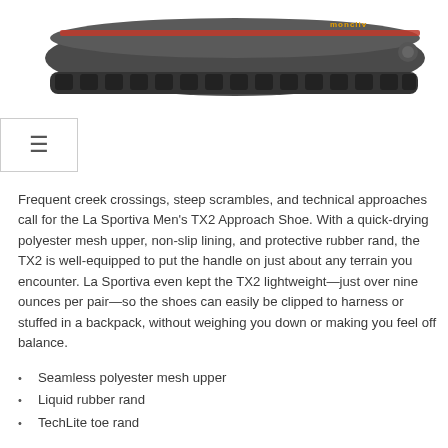[Figure (photo): Partial view of a La Sportiva TX2 Approach Shoe sole/bottom, dark gray with orange accent stripe, showing tread pattern.]
Frequent creek crossings, steep scrambles, and technical approaches call for the La Sportiva Men's TX2 Approach Shoe. With a quick-drying polyester mesh upper, non-slip lining, and protective rubber rand, the TX2 is well-equipped to put the handle on just about any terrain you encounter. La Sportiva even kept the TX2 lightweight—just over nine ounces per pair—so the shoes can easily be clipped to harness or stuffed in a backpack, without weighing you down or making you feel off balance.
Seamless polyester mesh upper
Liquid rubber rand
TechLite toe rand